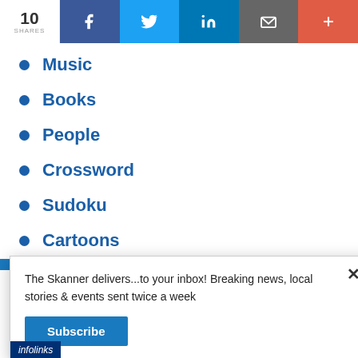10 SHARES | f | Twitter | in | email | +
Music
Books
People
Crossword
Sudoku
Cartoons
The Skanner delivers...to your inbox! Breaking news, local stories & events sent twice a week
Subscribe
[Figure (infographic): infolinks branded label]
[Figure (infographic): Seamless food delivery advertisement with pizza image, Seamless logo, ORDER NOW button]
[Figure (infographic): Constant Staffing ad: ESTAMOS CONTRATANDO BILINGUES - TRABAJADORES DE BODEGA, EMPACADORES, PERSONAL ADMINISTRATIVO, 713-714-8909]